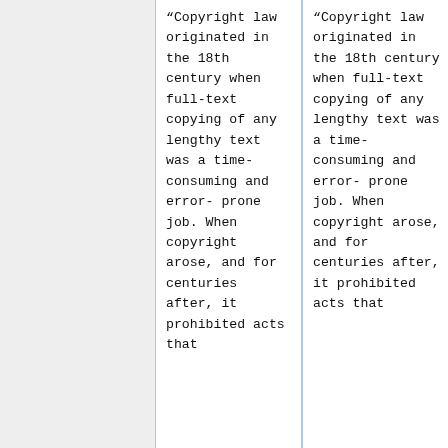“Copyright law originated in the 18th century when full-text copying of any lengthy text was a time-consuming and error-prone job. When copyright arose, and for centuries after, it prohibited acts that
“Copyright law originated in the 18th century when full-text copying of any lengthy text was a time-consuming and error-prone job. When copyright arose, and for centuries after, it prohibited acts that